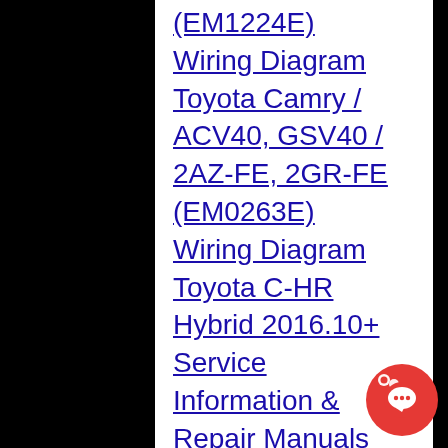(EM1224E)
Wiring Diagram Toyota Camry / ACV40, GSV40 / 2AZ-FE, 2GR-FE (EM0263E)
Wiring Diagram Toyota C-HR Hybrid 2016.10+ Service Information & Repair Manuals
Toyota Camry ASV70L, ASV70R, ASV71L, AXVA70L,
[Figure (illustration): Red circular chat/message button icon in bottom right corner]